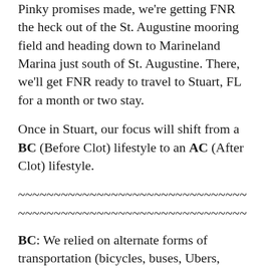Pinky promises made, we're getting FNR the heck out of the St. Augustine mooring field and heading down to Marineland Marina just south of St. Augustine. There, we'll get FNR ready to travel to Stuart, FL for a month or two stay.
Once in Stuart, our focus will shift from a BC (Before Clot) lifestyle to an AC (After Clot) lifestyle.
~~~~~~~~~~~~~~~~~~~~~~~~~~~~~~~~
~~~~~~~~~~~~~~~~~~~~~~~~~~~~~~~~
BC: We relied on alternate forms of transportation (bicycles, buses, Ubers, trolleys) to get to places that are too far to walk to. This works well if you don't have to have your blood